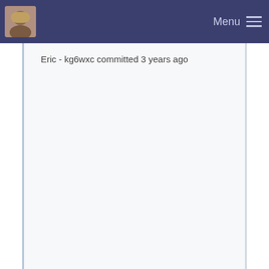Menu
Eric - kg6wxc committed 3 years ago